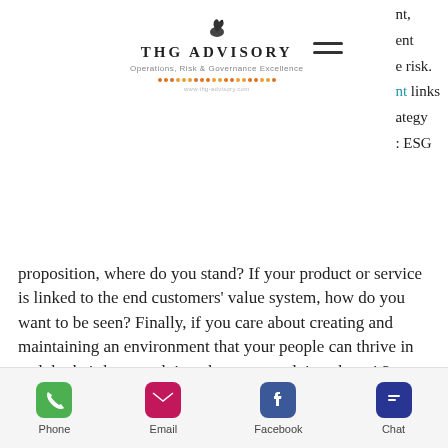[Figure (logo): THG Advisory logo with swan icon, name, tagline 'Operations, Risk & Governance Excellence', dots decoration, and website URL]
nt
e risk.
t links
ategy
: ESG
proposition, where do you stand? If your product or service is linked to the end customers' value system, how do you want to be seen? Finally, if you care about creating and maintaining an environment that your people can thrive in and do their best work in, what are you doing about it?
THG Advisory works with clients to leverage individual differences, and
Phone | Email | Facebook | Chat